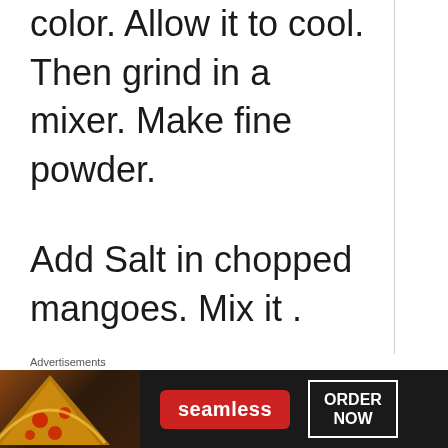color. Allow it to cool. Then grind in a mixer. Make fine powder.
Add Salt in chopped mangoes. Mix it .
Now sprinkle 2 tsp red chilli powder and fenugreek powder
Advertisements
[Figure (other): Seamless food delivery advertisement banner with pizza image, seamless logo in red, and ORDER NOW button]